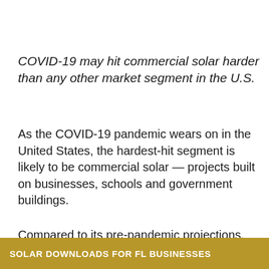COVID-19 may hit commercial solar harder than any other market segment in the U.S.
As the COVID-19 pandemic wears on in the United States, the hardest-hit segment is likely to be commercial solar — projects built on businesses, schools and government buildings.
Compared to its pre-pandemic projections, Wood Mackenzie is forecasting a 32 percent drop in commercial solar installations in 2020. Commercial businesses — hugely impacted by current economic conditions — will …ch as
SOLAR DOWNLOADS FOR FL BUSINESSES